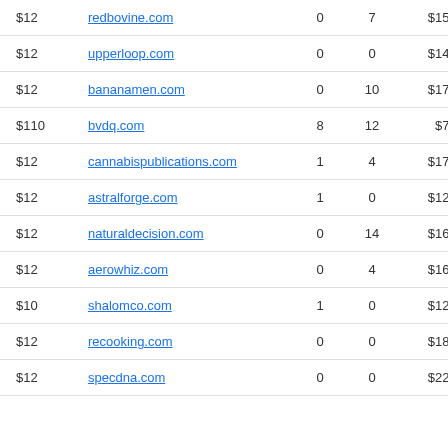| Price | Domain | Col1 | Col2 | Value |  |
| --- | --- | --- | --- | --- | --- |
| $12 | redbovine.com | 0 | 7 | $1554 |  |
| $12 | upperloop.com | 0 | 0 | $1476 |  |
| $12 | bananamen.com | 0 | 10 | $1730 |  |
| $110 | bvdq.com | 8 | 12 | $743 |  |
| $12 | cannabispublications.com | 1 | 4 | $1727 |  |
| $12 | astralforge.com | 1 | 0 | $1254 |  |
| $12 | naturaldecision.com | 0 | 14 | $1621 |  |
| $12 | aerowhiz.com | 0 | 4 | $1659 |  |
| $10 | shalomco.com | 1 | 0 | $1256 |  |
| $12 | recooking.com | 0 | 0 | $1892 |  |
| $12 | specdna.com | 0 | 0 | $2239 |  |